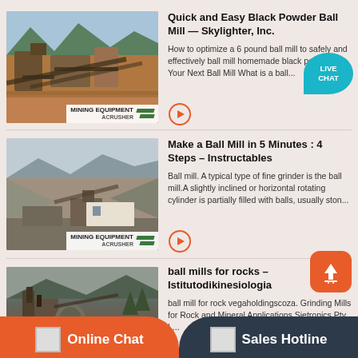[Figure (photo): Mining equipment / crusher plant with mountains in background, MINING EQUIPMENT ACRUSHER label]
Quick and Easy Black Powder Ball Mill — Skylighter, Inc.
How to optimize a 6 pound ball mill to safely and effectively ball mill homemade black po... Here's Your Next Ball Mill What is a ball...
[Figure (photo): Mining quarry site with excavated hillside, MINING EQUIPMENT ACRUSHER label]
Make a Ball Mill in 5 Minutes : 4 Steps – Instructables
Ball mill. A typical type of fine grinder is the ball mill.A slightly inclined or horizontal rotating cylinder is partially filled with balls, usually ston...
[Figure (photo): Industrial mining machinery/mill structure with mountains background, MINING EQUIPMENT ACRUSHER label]
ball mills for rocks – Istitutodikinesiologia
ball mill for rock vegaholdingscoza. Grinding Mills for Rock and Mineral Applications Sietronics Pty L...
Online Chat
Sales Hotline